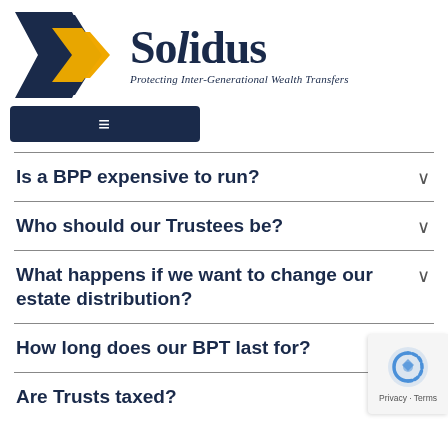[Figure (logo): Solidus logo: dark navy and gold chevron/arrow shapes, with 'Solidus' in large serif font and tagline 'Protecting Inter-Generational Wealth Transfers']
[Figure (other): Dark navy navigation bar with hamburger menu icon (three horizontal lines)]
Is a BPP expensive to run?
Who should our Trustees be?
What happens if we want to change our estate distribution?
How long does our BPT last for?
Are Trusts taxed?